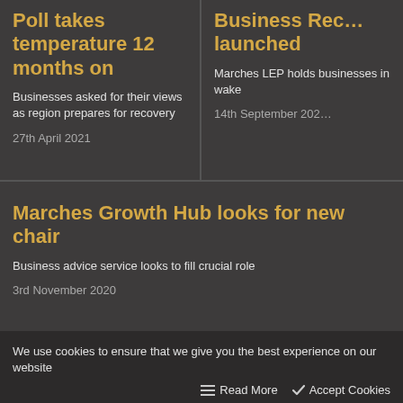Poll takes temperature 12 months on
Businesses asked for their views as region prepares for recovery
27th April 2021
Business Recovery launched
Marches LEP holds businesses in wake
14th September 202
Marches Growth Hub looks for new chair
Business advice service looks to fill crucial role
3rd November 2020
We use cookies to ensure that we give you the best experience on our website